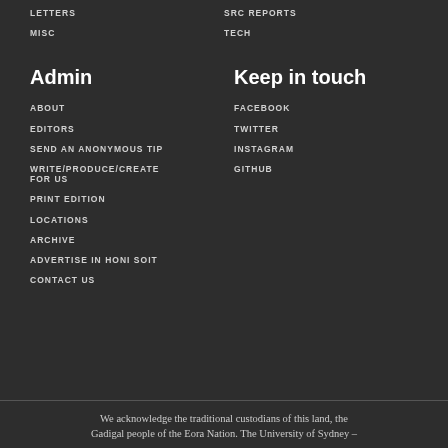LETTERS
SRC REPORTS
MISC
TECH
Admin
Keep in touch
ABOUT
FACEBOOK
EDITORS
TWITTER
SEND AN ANONYMOUS TIP
INSTAGRAM
WRITE/PRODUCE/CREATE FOR US
GITHUB
PRINT EDITION
LOCATIONS
ARCHIVE
ADVERTISE IN HONI SOIT
CONTACT US
We acknowledge the traditional custodians of this land, the Gadigal people of the Eora Nation. The University of Sydney –